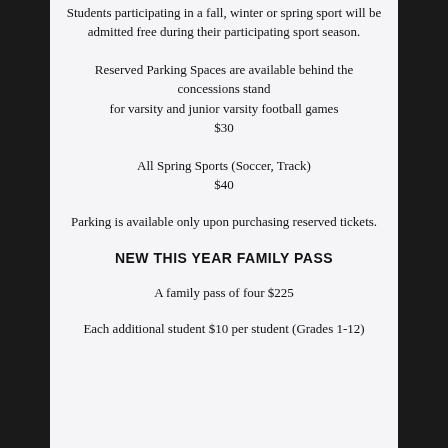Students participating in a fall, winter or spring sport will be admitted free during their participating sport season.
Reserved Parking Spaces are available behind the concessions stand for varsity and junior varsity football games $30
All Spring Sports (Soccer, Track) $40
Parking is available only upon purchasing reserved tickets.
NEW THIS YEAR FAMILY PASS
A family pass of four $225
Each additional student $10 per student (Grades 1-12)